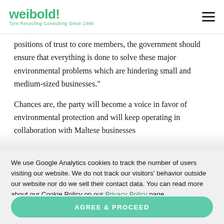weibold! Tyre Recycling Consulting Since 1999
positions of trust to core members, the government should ensure that everything is done to solve these major environmental problems which are hindering small and medium-sized businesses."
Chances are, the party will become a voice in favor of environmental protection and will keep operating in collaboration with Maltese businesses
We use Google Analytics cookies to track the number of users visiting our website. We do not track our visitors' behavior outside our website nor do we sell their contact data. You can read more about our Cookie Policy on our Privacy Policy page.
AGREE & PROCEED